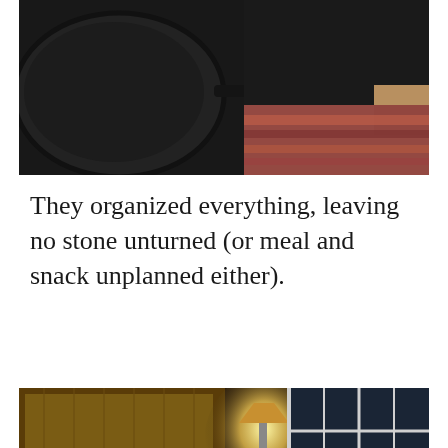[Figure (photo): Top portion of image showing a dark cooking pan on the left side and a person's legs wearing dark shorts standing on a patterned rug on the right side.]
They organized everything, leaving no stone unturned (or meal and snack unplanned either).
[Figure (photo): People sitting in a rustic wood-paneled room playing a board game at a low table, with cans of drinks on the table. A lamp glows in the background and a white-framed window is visible on the right.]